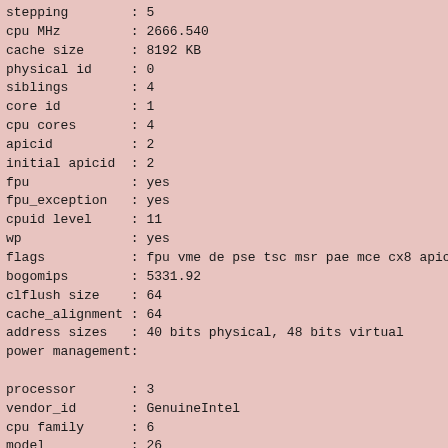stepping        : 5
cpu MHz         : 2666.540
cache size      : 8192 KB
physical id     : 0
siblings        : 4
core id         : 1
cpu cores       : 4
apicid          : 2
initial apicid  : 2
fpu             : yes
fpu_exception   : yes
cpuid level     : 11
wp              : yes
flags           : fpu vme de pse tsc msr pae mce cx8 apic mtr
bogomips        : 5331.92
clflush size    : 64
cache_alignment : 64
address sizes   : 40 bits physical, 48 bits virtual
power management:

processor       : 3
vendor_id       : GenuineIntel
cpu family      : 6
model           : 26
model name      : Intel(R) Xeon(R) CPU          X5550  @ 2.6
stepping        : 5
cpu MHz         : 2666.540
cache size      : 8192 KB
physical id     : 1
siblings        : 4
core id         : 1
cpu cores       : 4
apicid          : 18